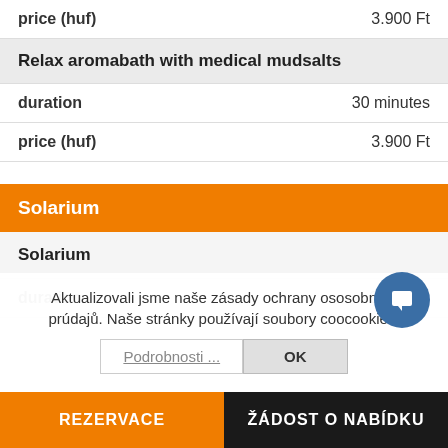|  |  |
| --- | --- |
| price (huf) | 3.900 Ft |
Relax aromabath with medical mudsalts
|  |  |
| --- | --- |
| duration | 30 minutes |
| price (huf) | 3.900 Ft |
Solarium
|  |  |
| --- | --- |
| Solarium |  |
| duration | 6 minutes |
Aktualizovali jsme naše zásady ochrany osobních údajů. Naše stránky používají soubory cookies.
REZERVACE | ŽÁDOST O NABÍDKU